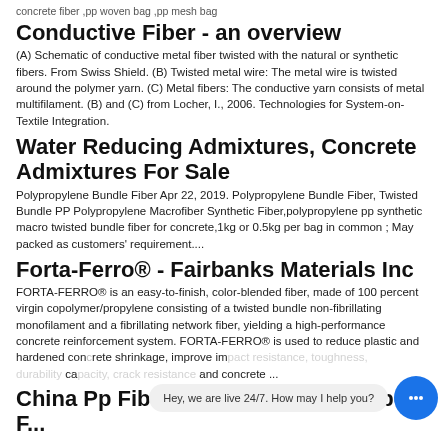concrete fiber ,pp woven bag ,pp mesh bag
Conductive Fiber - an overview
(A) Schematic of conductive metal fiber twisted with the natural or synthetic fibers. From Swiss Shield. (B) Twisted metal wire: The metal wire is twisted around the polymer yarn. (C) Metal fibers: The conductive yarn consists of metal multifilament. (B) and (C) from Locher, I., 2006. Technologies for System-on-Textile Integration.
Water Reducing Admixtures, Concrete Admixtures For Sale
Polypropylene Bundle Fiber Apr 22, 2019. Polypropylene Bundle Fiber, Twisted Bundle PP Polypropylene Macrofiber Synthetic Fiber,polypropylene pp synthetic macro twisted bundle fiber for concrete,1kg or 0.5kg per bag in common ; May packed as customers' requirement....
Forta-Ferro® - Fairbanks Materials Inc
FORTA-FERRO® is an easy-to-finish, color-blended fiber, made of 100 percent virgin copolymer/propylene consisting of a twisted bundle non-fibrillating monofilament and a fibrillating network fiber, yielding a high-performance concrete reinforcement system. FORTA-FERRO® is used to reduce plastic and hardened concrete shrinkage, improve impact resistance, toughness, durability and concrete ...
China Pp Fiber For Concrete, Pp Fiber F...